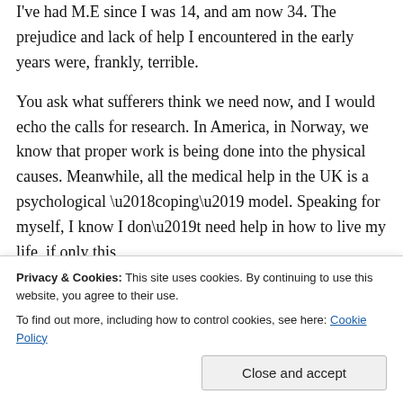I've had M.E since I was 14, and am now 34. The prejudice and lack of help I encountered in the early years were, frankly, terrible.
You ask what sufferers think we need now, and I would echo the calls for research. In America, in Norway, we know that proper work is being done into the physical causes. Meanwhile, all the medical help in the UK is a psychological ‘coping’ model. Speaking for myself, I know I don’t need help in how to live my life, if only this [disability were cured].
Privacy & Cookies: This site uses cookies. By continuing to use this website, you agree to their use.
To find out more, including how to control cookies, see here: Cookie Policy
headlines about people with cancer and M.S,